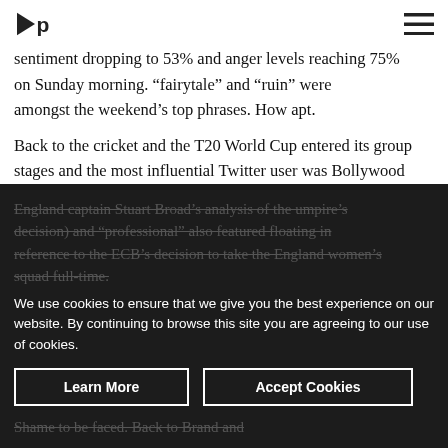[Logo: brandwatch] [hamburger menu icon]
sentiment dropping to 53% and anger levels reaching 75% [logo overlap] on Sunday morning. “fairytale” and “ruin” were amongst the weekend’s top phrases. How apt.
Back to the cricket and the T20 World Cup entered its group stages and the most influential Twitter user was Bollywood film star @SrBachchan. England faced New Zealand on Saturday and positive sentiment dropped 50% to 32.2% as the rain came in and handed the win to the Black Caps.
“Distinctly average” was a key phrase on Twitter (following
England captain Stuart Broad’s analysis of the umpire’s decision) and “professional” also featured floating in reference to the ECB’s decision to take the England women’s squad full-time.
We use cookies to ensure that we give you the best experience on our website. By continuing to browse this site you are agreeing to our use of cookies.
Learn More   Accept Cookies
Shame to be faced. Back to Brand and